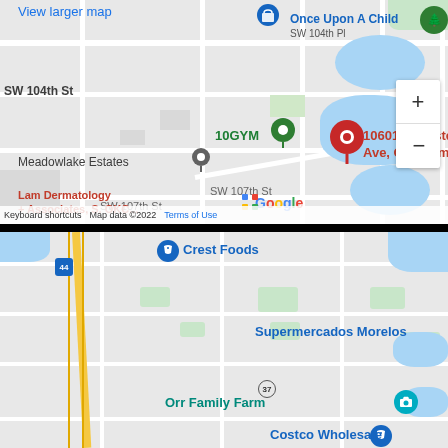[Figure (map): Google Maps screenshot showing the area around 10601 S Western Ave, Oklahoma City, OK. Top map shows a zoomed-in street view with a red location pin labeled '10601 S Western Ave, Oklahoma City...', 10GYM business marker, Meadowlake Estates label, Lam Dermatology + Associates label, SW 104th St, SW 107th St labels. Upper right shows 'Once Upon A Child' and 'SW 104th Pl'. Zoom controls (+/-) on right. Map data copyright 2022 Google. Google logo visible. Bottom map shows a wider view with Crest Foods, Museum of Osteology, Supermercados Morelos, Moore, Orr Family Farm, Costco Wholesale labels. Highways I-44, I-35, and route 37 visible. Black bar separates the two map views.]